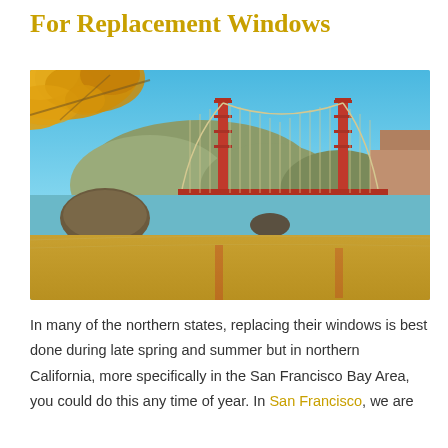For Replacement Windows
[Figure (photo): Photo of the Golden Gate Bridge in San Francisco taken from a beach, with golden autumn tree leaves in the upper left corner, blue sky, hills, and water with sandy beach and reflections in the foreground.]
In many of the northern states, replacing their windows is best done during late spring and summer but in northern California, more specifically in the San Francisco Bay Area, you could do this any time of year. In San Francisco, we are